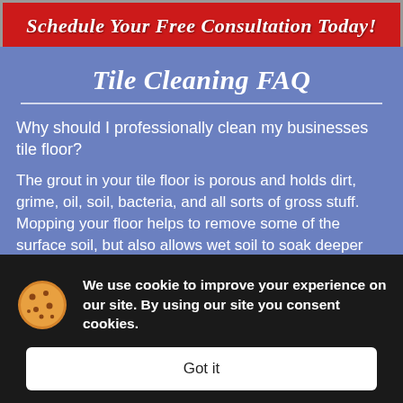Schedule Your Free Consultation Today!
Tile Cleaning FAQ
Why should I professionally clean my businesses tile floor?
The grout in your tile floor is porous and holds dirt, grime, oil, soil, bacteria, and all sorts of gross stuff. Mopping your floor helps to remove some of the surface soil, but also allows wet soil to soak deeper into the grout. Any un-rinsed residue can attract soil and quickly cause your floor to appear stained.
We use cookie to improve your experience on our site. By using our site you consent cookies.
Got it